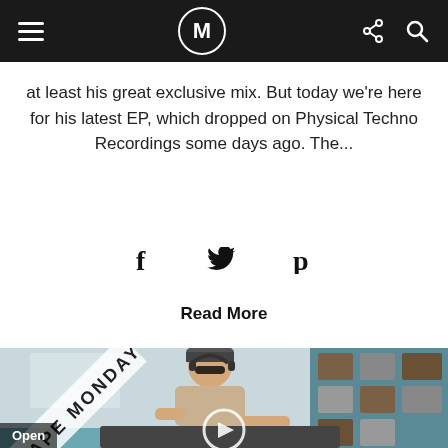M
at least his great exclusive mix. But today we're here for his latest EP, which dropped on Physical Techno Recordings some days ago. The...
f  y  p
Read More
[Figure (photo): A DJ wearing sunglasses and a backwards cap with headphones, working at a DJ setup in a studio room. A diagonal banner reads 'MIXTAPE MONDAY'. A circular play button is visible at the bottom center. An 'Open' button appears at bottom left.]